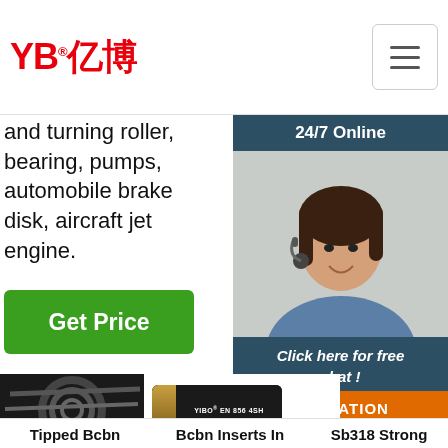[Figure (logo): YB亿博 company logo in red with registered trademark symbol, followed by a hamburger menu button on the right]
and turning roller, bearing, pumps, automobile brake disk, aircraft jet engine.
Get Price
[Figure (infographic): Right sidebar widget showing 24/7 Online bar, photo of a female customer service rep with headset, Click here for free chat! box, and QUOTATION orange button]
[Figure (photo): Coiled black hydraulic hoses being handled]
[Figure (photo): Black hydraulic hose segment labeled YIBO EN 856 4SH]
[Figure (photo): Hose labeled YIBO EN 853 1SN]
[Figure (photo): Hose labeled YIBO EN 853 2SN with TOP badge]
Tipped Bcbn
Bcbn Inserts In
Sb318 Strong